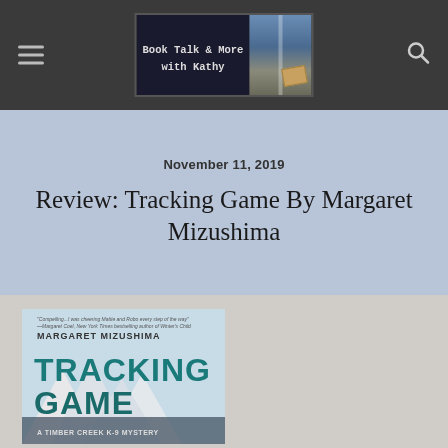Book Talk & More with Kathy
November 11, 2019
Review: Tracking Game By Margaret Mizushima
[Figure (photo): Book cover of Tracking Game by Margaret Mizushima, a Timber Creek K-9 Mystery. Shows the title in large teal letters with a snowy/mountainous background.]